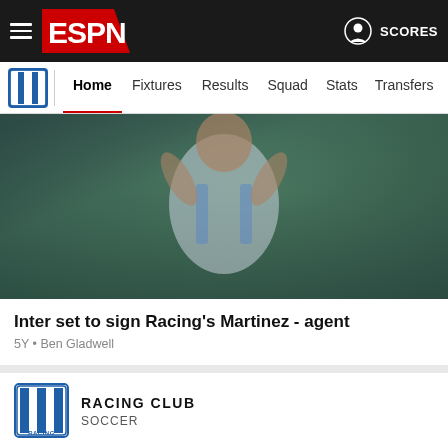ESPN - Home Fixtures Results Squad Stats Transfers More | SCORES
Home | Fixtures | Results | Squad | Stats | Transfers | Mor
[Figure (photo): Soccer player in Racing Club blue and white jersey with arms raised celebrating]
Inter set to sign Racing's Martinez - agent
5Y • Ben Gladwell
RACING CLUB
SOCCER
[Figure (photo): Soccer player celebrating, second article image]